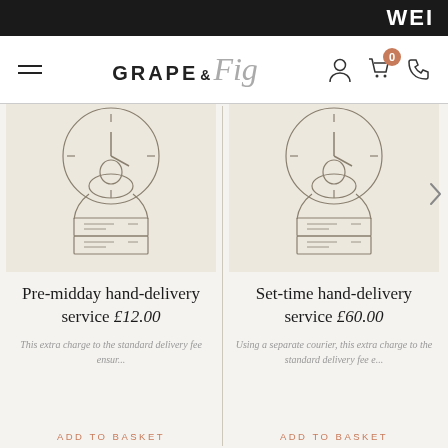WE
GRAPE & Fig
[Figure (illustration): Line drawing of a person holding a box with a clock in the background — delivery illustration]
Pre-midday hand-delivery service £12.00
This extra charge to the standard delivery fee ensur...
ADD TO BASKET
[Figure (illustration): Line drawing of a person holding a box with a clock in the background — delivery illustration]
Set-time hand-delivery service £60.00
Using a separate courier, this extra charge to the standard delivery fee e...
ADD TO BASKET